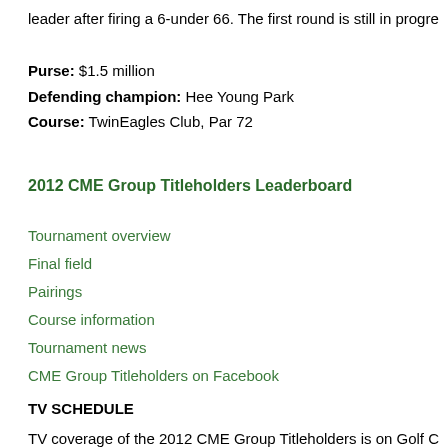leader after firing a 6-under 66. The first round is still in progress.
Purse: $1.5 million
Defending champion: Hee Young Park
Course: TwinEagles Club, Par 72
2012 CME Group Titleholders Leaderboard
Tournament overview
Final field
Pairings
Course information
Tournament news
CME Group Titleholders on Facebook
TV SCHEDULE
TV coverage of the 2012 CME Group Titleholders is on Golf C... ET.
Thu, Nov 15